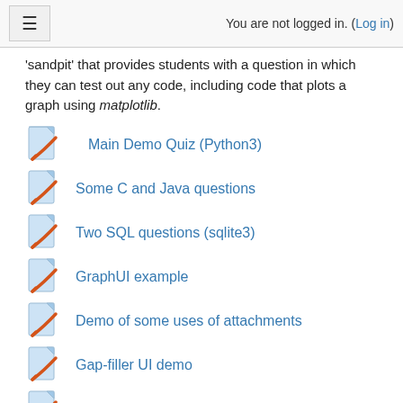You are not logged in. (Log in)
'sandpit' that provides students with a question in which they can test out any code, including code that plots a graph using matplotlib.
Main Demo Quiz (Python3)
Some C and Java questions
Two SQL questions (sqlite3)
GraphUI example
Demo of some uses of attachments
Gap-filler UI demo
A Python3 Sandpit
CodeRunner Authors' Forum